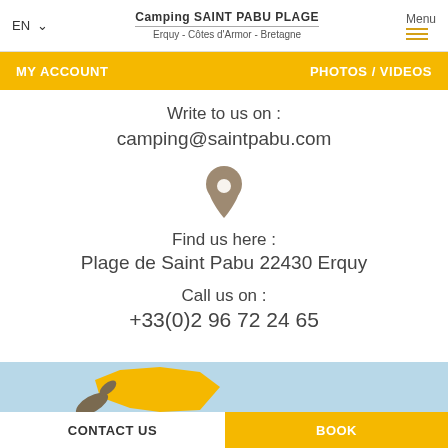EN | Camping SAINT PABU PLAGE | Erquy - Côtes d'Armor - Bretagne | Menu
MY ACCOUNT | PHOTOS / VIDEOS
Write to us on :
camping@saintpabu.com
[Figure (illustration): Location pin / map marker icon in brownish-gray color]
Find us here :
Plage de Saint Pabu 22430 Erquy
Call us on :
+33(0)2 96 72 24 65
[Figure (map): Light blue background map showing yellow silhouette of France with a hand/pointer pointing to the northwest (Brittany) region]
CONTACT US | BOOK